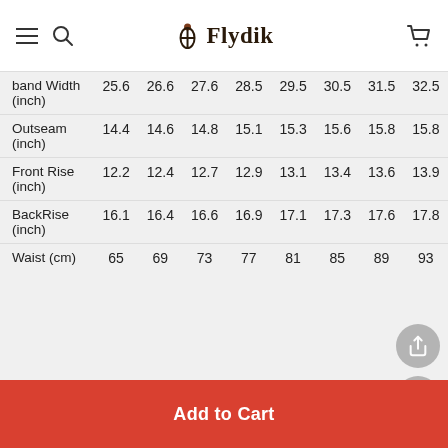Flydik
|  | 25.6 | 26.6 | 27.6 | 28.5 | 29.5 | 30.5 | 31.5 | 32.5 |
| --- | --- | --- | --- | --- | --- | --- | --- | --- |
| band Width (inch) | 25.6 | 26.6 | 27.6 | 28.5 | 29.5 | 30.5 | 31.5 | 32.5 |
| Outseam (inch) | 14.4 | 14.6 | 14.8 | 15.1 | 15.3 | 15.6 | 15.8 | 15.8 |
| Front Rise (inch) | 12.2 | 12.4 | 12.7 | 12.9 | 13.1 | 13.4 | 13.6 | 13.9 |
| BackRise (inch) | 16.1 | 16.4 | 16.6 | 16.9 | 17.1 | 17.3 | 17.6 | 17.8 |
| Waist (cm) | 65 | 69 | 73 | 77 | 81 | 85 | 89 | 93 |
Add to Cart